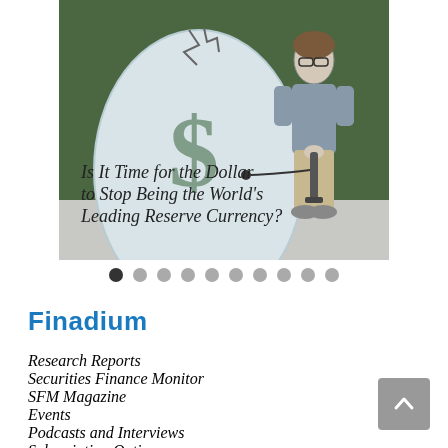[Figure (illustration): Illustration showing a large coin/egg with a dollar sign on it, with a crack and a figure pumping air into it using a bicycle pump. Text on image reads: 'Is It Time for the Dollar to Stop Being the World's Leading Reserve Currency?']
Finadium
Research Reports
Securities Finance Monitor
SFM Magazine
Events
Podcasts and Interviews
Subscription Options
Consulting